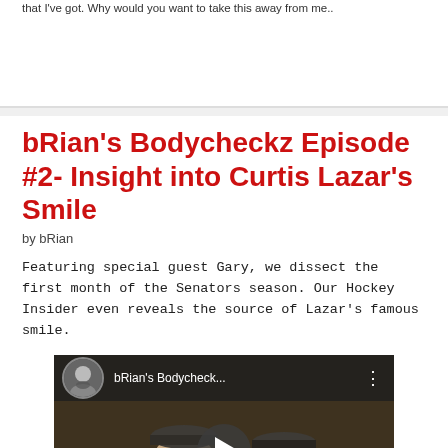that I've got. Why would you want to take this away from me..
bRian's Bodycheckz Episode #2- Insight into Curtis Lazar's Smile
by bRian
Featuring special guest Gary, we dissect the first month of the Senators season. Our Hockey Insider even reveals the source of Lazar's famous smile.
[Figure (screenshot): YouTube video thumbnail showing two men, one in a black jersey and cap, one in a red jersey, with a video play button overlay and bRian's Bodycheck... title bar at top]